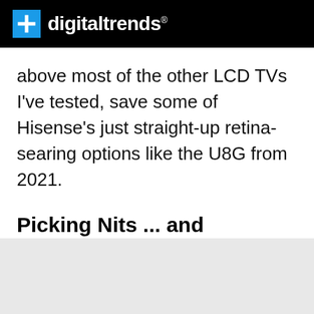digitaltrends
above most of the other LCD TVs I've tested, save some of Hisense's just straight-up retina-searing options like the U8G from 2021.
Picking Nits ... and dimming zones